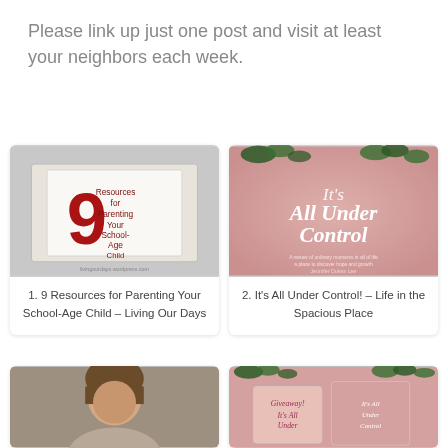Please link up just one post and visit at least your neighbors each week.
[Figure (photo): Book image with large red number 9 and text 'Resources for Parenting Your School-Age Child']
1. 9 Resources for Parenting Your School-Age Child – Living Our Days
[Figure (photo): Pink book cover with cursive text 'It's All Under Control' and ivy leaves decoration]
2. It's All Under Control! – Life in the Spacious Place
[Figure (photo): Person with brown hair, partial face visible]
[Figure (photo): Book with text 'Giveaway! It's All Under' and 'It's All Under Control' covers]